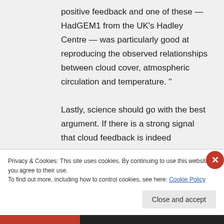positive feedback and one of these — HadGEM1 from the UK's Hadley Centre — was particularly good at reproducing the observed relationships between cloud cover, atmospheric circulation and temperature. "

Lastly, science should go with the best argument. If there is a strong signal that cloud feedback is indeed
Privacy & Cookies: This site uses cookies. By continuing to use this website, you agree to their use.
To find out more, including how to control cookies, see here: Cookie Policy